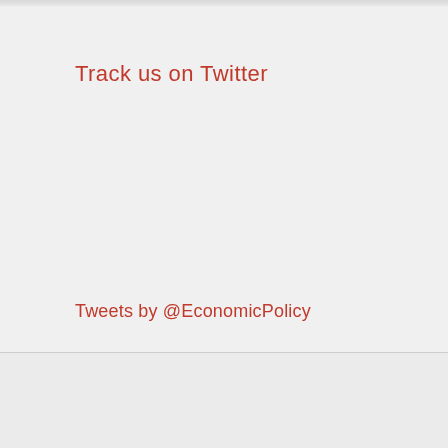Track us on Twitter
Tweets by @EconomicPolicy